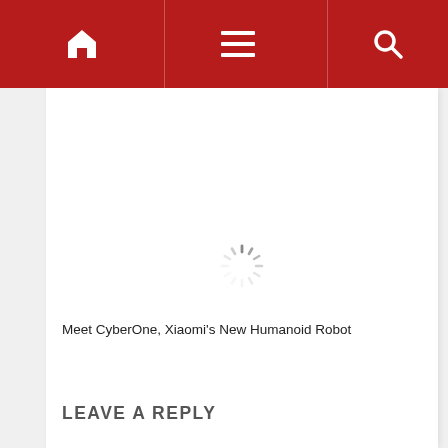Navigation bar with home, menu, and search icons
[Figure (illustration): Loading spinner (circular spinner with dashes, gray color) centered in the content area]
Meet CyberOne, Xiaomi's New Humanoid Robot
LEAVE A REPLY